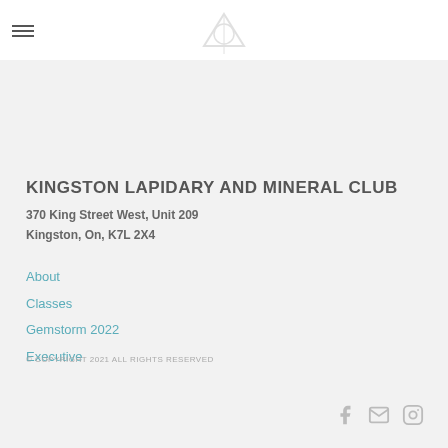KINGSTON LAPIDARY AND MINERAL CLUB
370 King Street West, Unit 209
Kingston, On, K7L 2X4
About
Classes
Gemstorm 2022
Executive
© COPYRIGHT 2021 ALL RIGHTS RESERVED